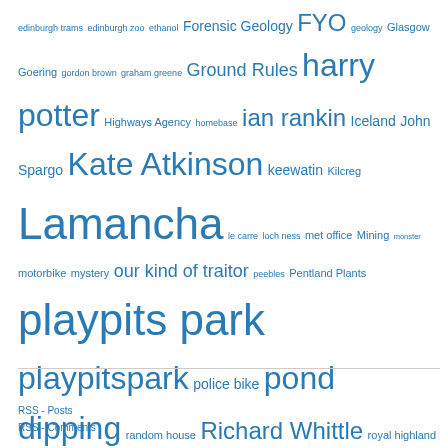edinburgh trams edinburgh zoo ethanol Forensic Geology FYO geology Glasgow Goering gordon brown graham greene Ground Rules harry potter Highways Agency homebase ian rankin Iceland John Spargo Kate Atkinson keewatin Kilcreg Lamancha le carre loch ness met office Mining monster motorbike mystery our kind of traitor peebles Pentland Plants playpits park playpitspark police bike pond dipping random house Richard Whittle royal highland show sainsbury salisbury crags scotland scottish borders scottish parliament snow snowplough snowplow st andrew square the fyo The Man Who Played Trains tram works triumph tyo u-boat waterstones west linton whitmuir whitmuir organics
RSS - Posts
RSS - Comments